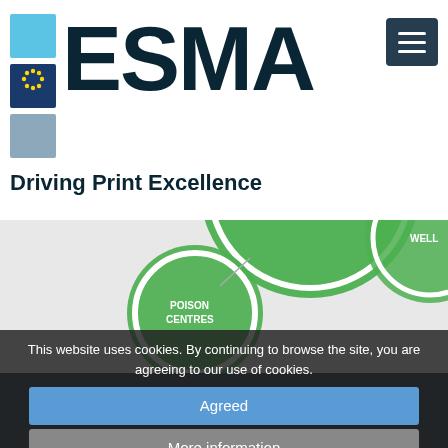[Figure (logo): ESMA logo with multi-colored square icon tiles on left and large bold ESMA text, tagline Driving Print Excellence below]
[Figure (screenshot): Partial green bubble/circle infographic showing POISON CENTRES label and another partial green bubble with WELL label, on light grey background]
FSMA Newsletter
This website uses cookies. By continuing to browse the site, you are agreeing to our use of cookies.
Agreed
More information